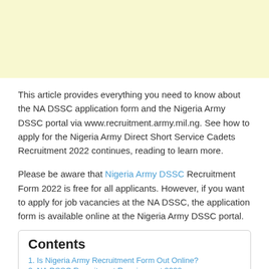[Figure (other): Light yellow advertisement banner at the top of the page]
This article provides everything you need to know about the NA DSSC application form and the Nigeria Army DSSC portal via www.recruitment.army.mil.ng. See how to apply for the Nigeria Army Direct Short Service Cadets Recruitment 2022 continues, reading to learn more.
Please be aware that Nigeria Army DSSC Recruitment Form 2022 is free for all applicants. However, if you want to apply for job vacancies at the NA DSSC, the application form is available online at the Nigeria Army DSSC portal.
Contents
1. Is Nigeria Army Recruitment Form Out Online?
2. NA DSSC Recruitment Requirement 2022